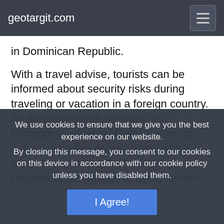geotargit.com
in Dominican Republic.
With a travel advise, tourists can be informed about security risks during traveling or vacation in a foreign country. Be informed about the risks of kidnapping, armed robbery, bombings, natural disasters or war. Know which areas are unsafe in Dominican Republico. Be vigilant, or avoid certain
We use cookies to ensure that we give you the best experience on our website.
By closing this message, you consent to our cookies on this device in accordance with our cookie policy unless you have disabled them.
I Agree!